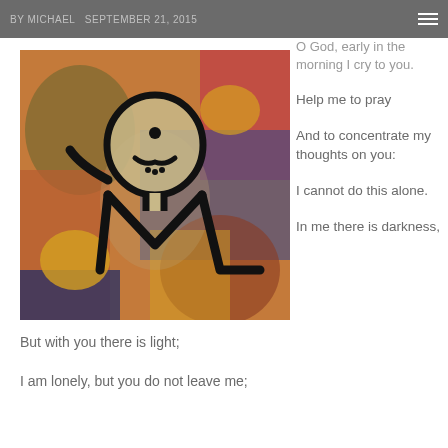BY MICHAEL  SEPTEMBER 21, 2015
[Figure (illustration): Abstract expressionist painting (Paul Klee style) depicting a skull-like figure with black outlines on a colorful background of blues, reds, yellows, and purples.]
O God, early in the morning I cry to you.

Help me to pray

And to concentrate my thoughts on you:

I cannot do this alone.

In me there is darkness,
But with you there is light;

I am lonely, but you do not leave me;